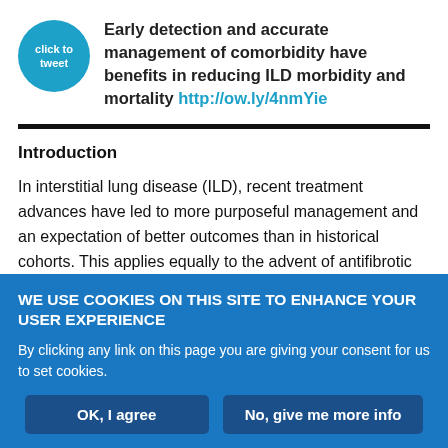Early detection and accurate management of comorbidity have benefits in reducing ILD morbidity and mortality http://ow.ly/4nmYie
Introduction
In interstitial lung disease (ILD), recent treatment advances have led to more purposeful management and an expectation of better outcomes than in historical cohorts. This applies equally to the advent of antifibrotic therapies in idiopathic pulmonary fibrosis (IPF) and to the nuanced use of immunosuppressive agents in most other
WE USE COOKIES ON THIS SITE TO ENHANCE YOUR USER EXPERIENCE
By clicking any link on this page you are giving your consent for us to set cookies.
OK, I agree
No, give me more info